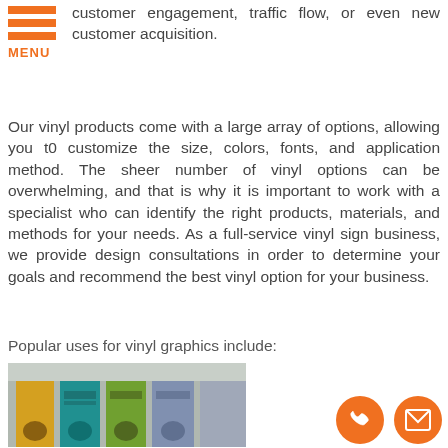[Figure (infographic): Orange hamburger menu icon with three horizontal bars and MENU text below]
customer engagement, traffic flow, or even new customer acquisition.
Our vinyl products come with a large array of options, allowing you t0 customize the size, colors, fonts, and application method. The sheer number of vinyl options can be overwhelming, and that is why it is important to work with a specialist who can identify the right products, materials, and methods for your needs. As a full-service vinyl sign business, we provide design consultations in order to determine your goals and recommend the best vinyl option for your business.
Popular uses for vinyl graphics include:
[Figure (photo): Photo of colorful vinyl banner stands in yellow, teal, green and blue with hand graphics in an office setting]
[Figure (infographic): Two orange circular contact buttons: phone icon and mail/envelope icon]